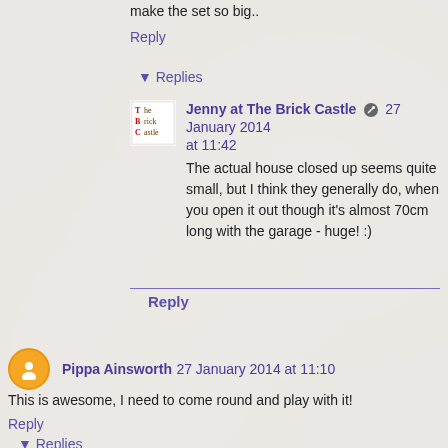make the set so big..
Reply
▾ Replies
Jenny at The Brick Castle 27 January 2014 at 11:42
The actual house closed up seems quite small, but I think they generally do, when you open it out though it's almost 70cm long with the garage - huge! :)
Reply
Pippa Ainsworth 27 January 2014 at 11:10
This is awesome, I need to come round and play with it!
Reply
▾ Replies